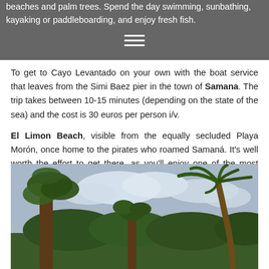beaches and palm trees. Spend the day swimming, sunbathing, kayaking or paddleboarding, and enjoy fresh fish.
To get to Cayo Levantado on your own with the boat service that leaves from the Simi Baez pier in the town of Samana. The trip takes between 10-15 minutes (depending on the state of the sea) and the cost is 30 euros per person i/v.
El Limon Beach, visible from the equally secluded Playa Morón, once home to the pirates who roamed Samaná. It's well worth the effort to get there, as you'll enjoy one of the most tranquil stretches of beach on the peninsula. For more adventure, join an excursion that will take you swimming down the El Limón River as it winds its way to the beach.
[Figure (photo): Outdoor photo showing tropical trees including palm trees and broad-leafed trees against a partly cloudy sky, with dense green vegetation in the background.]